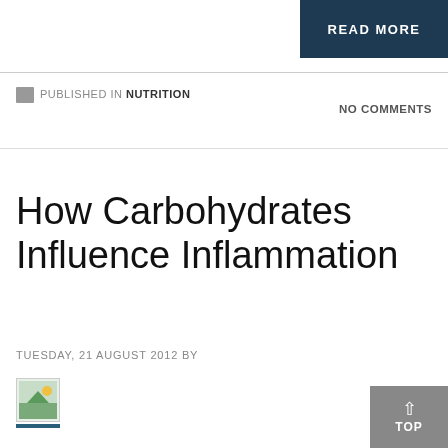READ MORE
PUBLISHED IN NUTRITION
NO COMMENTS
How Carbohydrates Influence Inflammation
TUESDAY, 21 AUGUST 2012 BY
[Figure (photo): Small author avatar image with a nature/landscape thumbnail]
More and more we are hearing that chronic inflammation plays a major role in various